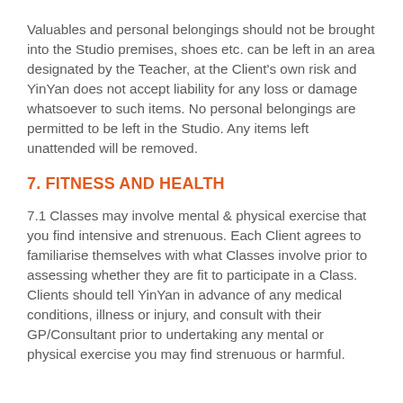Valuables and personal belongings should not be brought into the Studio premises, shoes etc. can be left in an area designated by the Teacher, at the Client's own risk and YinYan does not accept liability for any loss or damage whatsoever to such items. No personal belongings are permitted to be left in the Studio. Any items left unattended will be removed.
7. FITNESS AND HEALTH
7.1 Classes may involve mental & physical exercise that you find intensive and strenuous. Each Client agrees to familiarise themselves with what Classes involve prior to assessing whether they are fit to participate in a Class. Clients should tell YinYan in advance of any medical conditions, illness or injury, and consult with their GP/Consultant prior to undertaking any mental or physical exercise you may find strenuous or harmful.